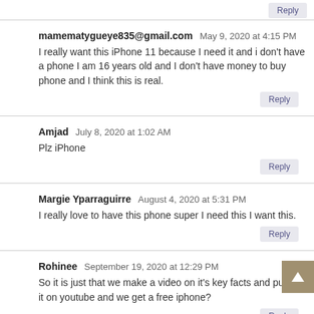Reply
mamematygueye835@gmail.com  May 9, 2020 at 4:15 PM
I really want this iPhone 11 because I need it and i don't have a phone I am 16 years old and I don't have money to buy phone and I think this is real.
Reply
Amjad  July 8, 2020 at 1:02 AM
Plz iPhone
Reply
Margie Yparraguirre  August 4, 2020 at 5:31 PM
I really love to have this phone super I need this I want this.
Reply
Rohinee  September 19, 2020 at 12:29 PM
So it is just that we make a video on it's key facts and publish it on youtube and we get a free iphone?
Reply